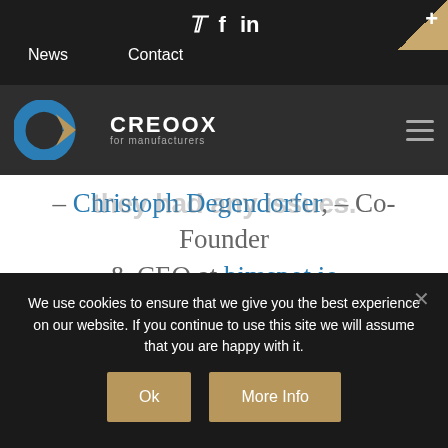Twitter Facebook LinkedIn | News Contact
[Figure (logo): CREOOX for manufacturers logo with blue and tan chevron symbol]
they had any issues.
- Christoph Degendorfer, - Co-Founder & CEO at bimspot.io
We use cookies to ensure that we give you the best experience on our website. If you continue to use this site we will assume that you are happy with it.
Ok | More Info